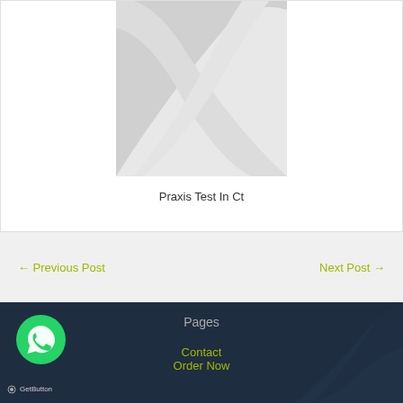[Figure (illustration): Placeholder image with grey swirl/wave pattern, representing a blog post thumbnail for Praxis Test In Ct]
Praxis Test In Ct
← Previous Post
Next Post →
[Figure (logo): WhatsApp GetButton green circular icon with chat bubble]
GetButton
Pages
Contact
Order Now